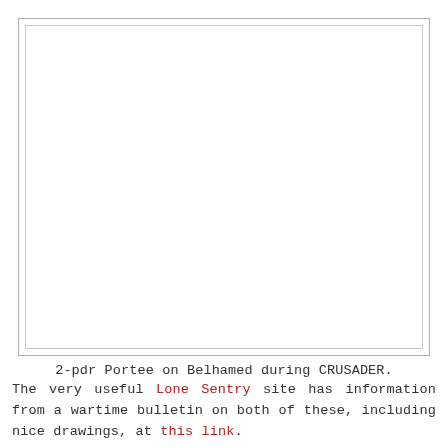[Figure (photo): A blank/white image placeholder with a double border rectangle, representing a photo of a 2-pdr Portee on Belhamed during CRUSADER.]
2-pdr Portee on Belhamed during CRUSADER. The very useful Lone Sentry site has information from a wartime bulletin on both of these, including nice drawings, at this link.